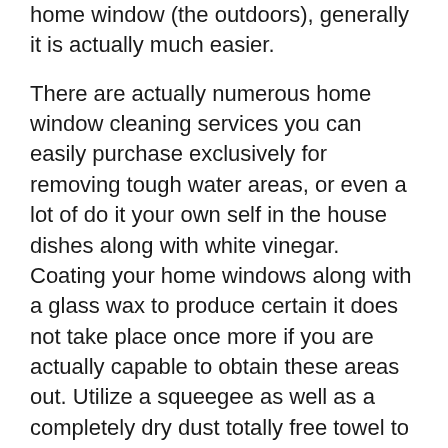home window (the outdoors), generally it is actually much easier.
There are actually numerous home window cleaning services you can easily purchase exclusively for removing tough water areas, or even a lot of do it your own self in the house dishes along with white vinegar. Coating your home windows along with a glass wax to produce certain it does not take place once more if you are actually capable to obtain these areas out. Utilize a squeegee as well as a completely dry dust totally free towel to remove all wetness to expose the clean, see through glass.
Cleansing your home windows may be an obstacle, however if you do it regularly, there will not be actually as numerous tough to clear away